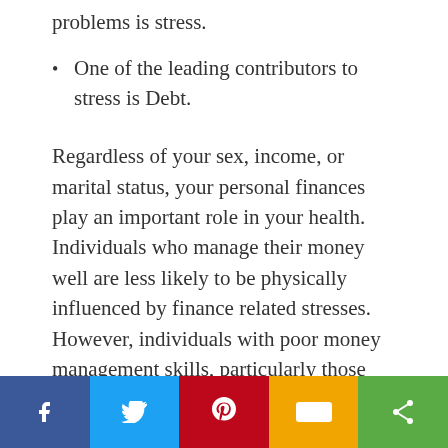problems is stress.
One of the leading contributors to stress is Debt.
Regardless of your sex, income, or marital status, your personal finances play an important role in your health. Individuals who manage their money well are less likely to be physically influenced by finance related stresses. However, individuals with poor money management skills, particularly those who carry high balances on credit cards are often physically, emotionally and mentally drained by their financial burdens.
[Figure (infographic): Social sharing bar with five buttons: Facebook (blue), Twitter (light blue), Pinterest (red), SMS (gold/yellow), Share (green), each with white icons.]